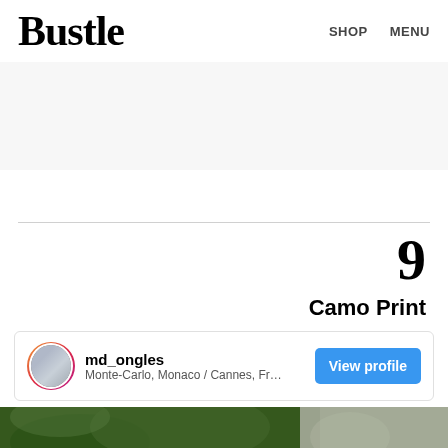Bustle | SHOP  MENU
[Figure (other): Light gray advertisement banner area]
9
Camo Print
md_ongles
Monte-Carlo, Monaco / Cannes, France / N
[Figure (photo): Instagram profile card with View profile button for md_ongles]
[Figure (photo): Partial photo showing green leaves and light background at the bottom of the page]